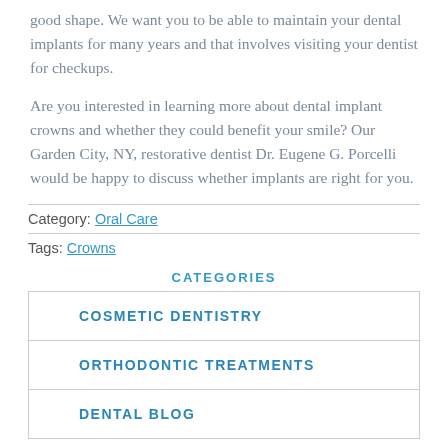good shape. We want you to be able to maintain your dental implants for many years and that involves visiting your dentist for checkups.
Are you interested in learning more about dental implant crowns and whether they could benefit your smile? Our Garden City, NY, restorative dentist Dr. Eugene G. Porcelli would be happy to discuss whether implants are right for you.
Category: Oral Care
Tags: Crowns
CATEGORIES
COSMETIC DENTISTRY
ORTHODONTIC TREATMENTS
DENTAL BLOG